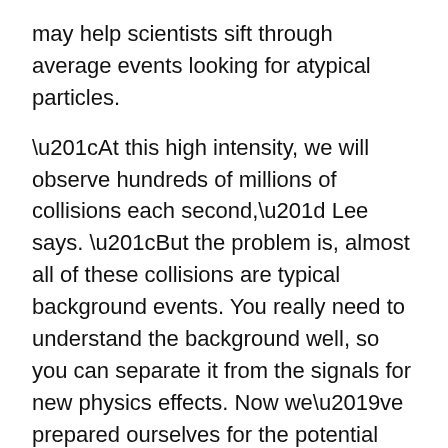may help scientists sift through average events looking for atypical particles.
“At this high intensity, we will observe hundreds of millions of collisions each second,” Lee says. “But the problem is, almost all of these collisions are typical background events. You really need to understand the background well, so you can separate it from the signals for new physics effects. Now we’ve prepared ourselves for the potential discovery of new particles.”
Shrinking the uncertainty of tiny collisions
Normally, 13 TeV is not a large amount of energy — about that expended by a flying mosquito. But when